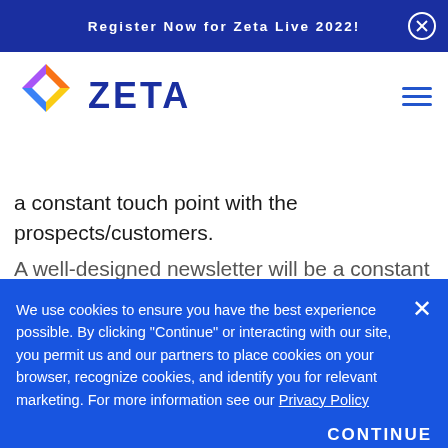Register Now for Zeta Live 2022!
[Figure (logo): Zeta logo with colorful diamond shape and blue text ZETA]
a constant touch point with the prospects/customers.
A well-designed newsletter will be a constant touch in...
We use cookies to ensure you have the best experience possible. By clicking "Continue" or interacting with our site, you permit us and our partners to place cookies on your browser, recognize cookies, and identify you for relevant marketing. For more information see our Privacy Policy
CONTINUE